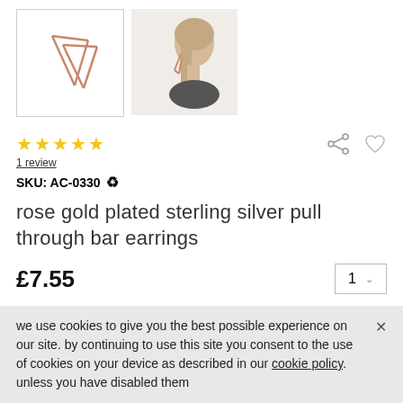[Figure (photo): Two product images: left shows rose gold bar earrings on white background with border; right shows a model wearing the earrings, side profile.]
1 review
SKU: AC-0330
rose gold plated sterling silver pull through bar earrings
£7.55
add a modern edge to your daily or evening look with these simple but unusually shaped pull through ear...
we use cookies to give you the best possible experience on our site. by continuing to use this site you consent to the use of cookies on your device as described in our cookie policy. unless you have disabled them